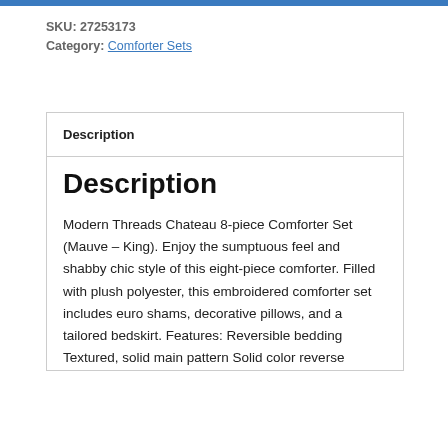SKU: 27253173
Category: Comforter Sets
Description
Description
Modern Threads Chateau 8-piece Comforter Set (Mauve – King). Enjoy the sumptuous feel and shabby chic style of this eight-piece comforter. Filled with plush polyester, this embroidered comforter set includes euro shams, decorative pillows, and a tailored bedskirt. Features: Reversible bedding Textured, solid main pattern Solid color reverse